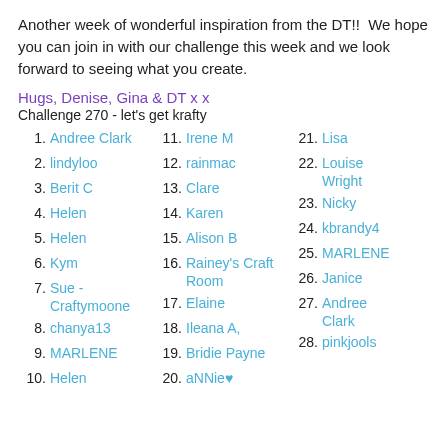Another week of wonderful inspiration from the DT!!  We hope you can join in with our challenge this week and we look forward to seeing what you create.
Hugs, Denise, Gina & DT x x
Challenge 270 - let's get krafty
1. Andree Clark
2. lindyloo
3. Berit C
4. Helen
5. Helen
6. Kym
7. Sue - Craftymoone
8. chanya13
9. MARLENE
10. Helen
11. Irene M
12. rainmac
13. Clare
14. Karen
15. Alison B
16. Rainey's Craft Room
17. Elaine
18. Ileana A,
19. Bridie Payne
20. aNNie♥
21. Lisa
22. Louise Wright
23. Nicky
24. kbrandy4
25. MARLENE
26. Janice
27. Andree Clark
28. pinkjools